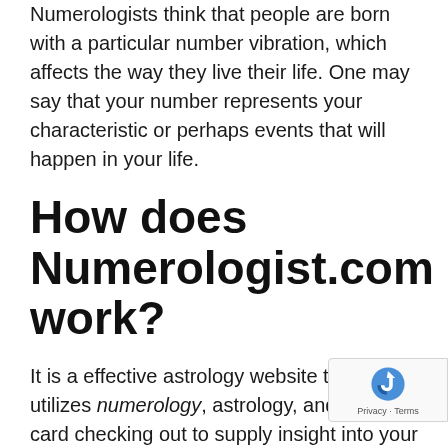Numerologists think that people are born with a particular number vibration, which affects the way they live their life. One may say that your number represents your characteristic or perhaps events that will happen in your life.
How does Numerologist.com work?
It is a effective astrology website that utilizes numerology, astrology, and tarot card checking out to supply insight into your past, present, and future.
It has over 11 million members and...